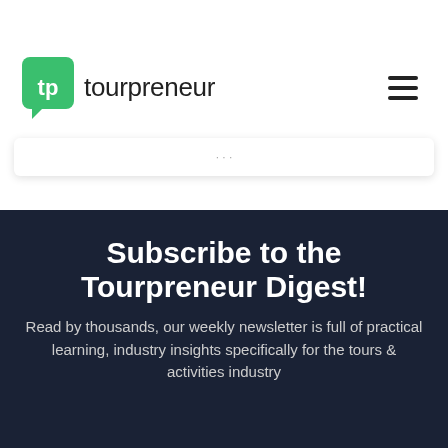tourpreneur
Subscribe to the Tourpreneur Digest!
Read by thousands, our weekly newsletter is full of practical learning, industry insights specifically for the tours & activities industry